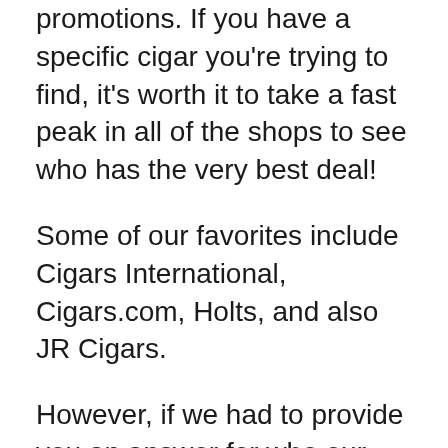promotions. If you have a specific cigar you're trying to find, it's worth it to take a fast peak in all of the shops to see who has the very best deal!
Some of our favorites include Cigars International, Cigars.com, Holts, and also JR Cigars.
However, if we had to provide you an answer for who our preferred online cigar store is, the solution is straightforward: Famous Smoke Shop.
In our opinion, it's truly hard to defeat the constant bargains as well as promos provided by Famous Smoke. They have a significant choice of amazing cigars as well